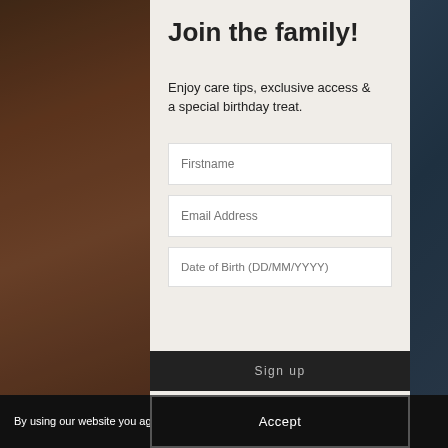[Figure (photo): Background photo showing a dark teal/navy surface on the right and a person's hand/skin on the left side, partially visible behind the modal overlay.]
Join the family!
Enjoy care tips, exclusive access & a special birthday treat.
Firstname
Email Address
Date of Birth (DD/MM/YYYY)
Sign up
By using our website you agree to our Cookie Policy.
Accept